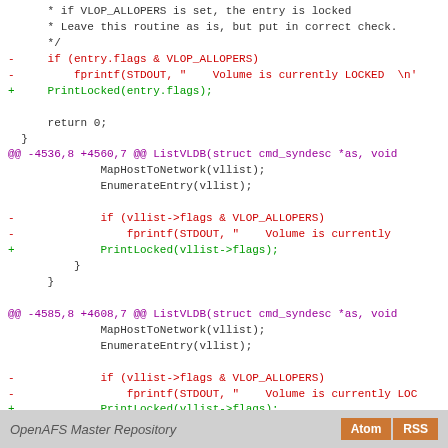Code diff showing changes to ListVLDB function replacing VLOP_ALLOPERS fprintf calls with PrintLocked calls
OpenAFS Master Repository   Atom  RSS